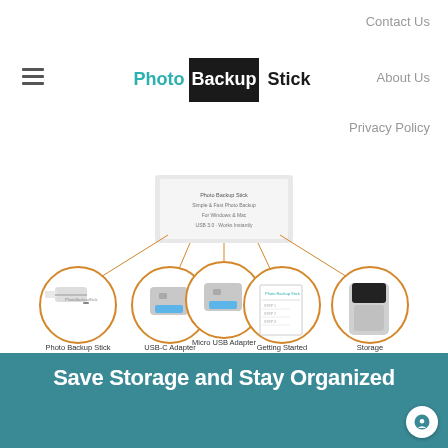Contact Us
[Figure (logo): Photo Backup Stick logo — white text 'Photo', black background 'Backup', teal text 'Stick' in a bordered rectangle]
About Us
Privacy Policy
[Figure (infographic): Product contents diagram showing 5 items with orange circle callouts: Photo Backup Stick Universal USB Drive, USB-C Adapter, Micro USB Adapter, Getting Started Guide, Storage Tin]
Photo Backup Stick Universal USB Drive
USB-C Adapter
Micro USB Adapter
Getting Started Guide
Storage Tin
Save Storage and Stay Organized